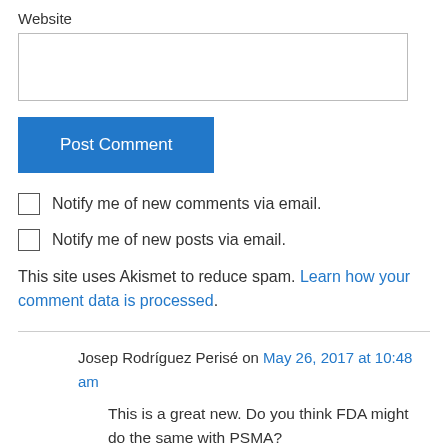Website
Post Comment
Notify me of new comments via email.
Notify me of new posts via email.
This site uses Akismet to reduce spam. Learn how your comment data is processed.
Josep Rodríguez Perisé on May 26, 2017 at 10:48 am
This is a great new. Do you think FDA might do the same with PSMA?